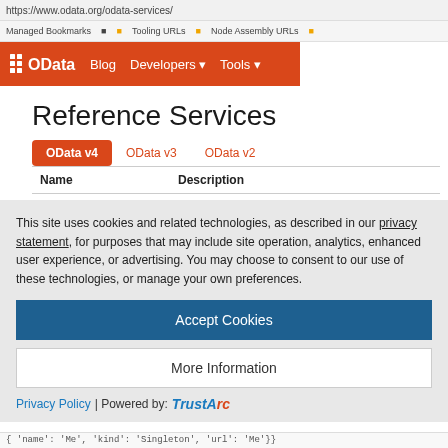https://www.odata.org/odata-services/
Managed Bookmarks  Tooling URLs  Node Assembly URLs
[Figure (screenshot): OData website navigation bar with orange background showing OData logo, Blog, Developers, and Tools menu items]
Reference Services
OData v4  OData v3  OData v2
| Name | Description |
| --- | --- |
This site uses cookies and related technologies, as described in our privacy statement, for purposes that may include site operation, analytics, enhanced user experience, or advertising. You may choose to consent to our use of these technologies, or manage your own preferences.
Accept Cookies
More Information
Privacy Policy | Powered by: TrustArc
{ 'name': 'Me', 'kind': 'Singleton', 'url': 'Me'}}